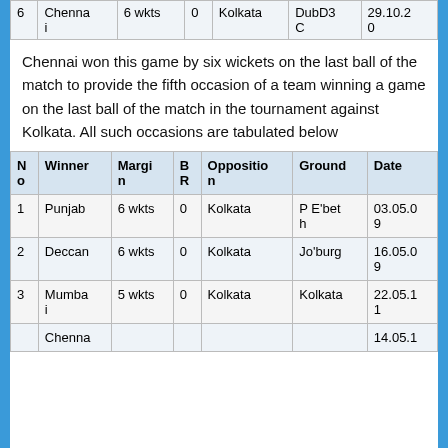| No | Winner | Margin | BR | Opposition | Ground | Date |
| --- | --- | --- | --- | --- | --- | --- |
| 6 | Chennai | 6 wkts | 0 | Kolkata | DubD3C | 29.10.20 |
Chennai won this game by six wickets on the last ball of the match to provide the fifth occasion of a team winning a game on the last ball of the match in the tournament against Kolkata. All such occasions are tabulated below
| No | Winner | Margin | BR | Opposition | Ground | Date |
| --- | --- | --- | --- | --- | --- | --- |
| 1 | Punjab | 6 wkts | 0 | Kolkata | P E'bet h | 03.05.09 |
| 2 | Deccan | 6 wkts | 0 | Kolkata | Jo'burg | 16.05.09 |
| 3 | Mumbai | 5 wkts | 0 | Kolkata | Kolkata | 22.05.11 |
| 4 | Chenna |  |  | Kolkata |  | 14.05.1 |